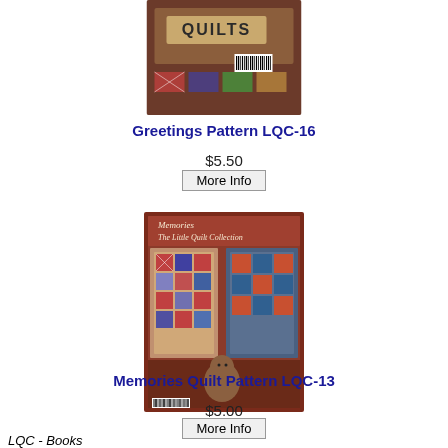[Figure (photo): Book cover for Greetings Pattern LQC-16, showing quilts with a barcode visible]
Greetings Pattern LQC-16
$5.50
More Info
[Figure (photo): Book cover for Memories The Little Quilt Collection featuring quilts, a teddy bear, and small quilt patterns]
Memories Quilt Pattern LQC-13
$5.00
More Info
LQC - Books